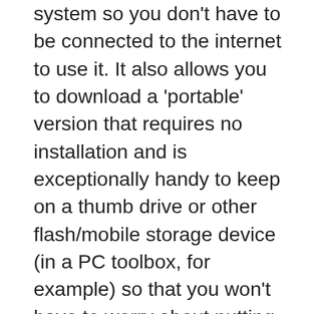system so you don't have to be connected to the internet to use it. It also allows you to download a 'portable' version that requires no installation and is exceptionally handy to keep on a thumb drive or other flash/mobile storage device (in a PC toolbox, for example) so that you won't have to worry about putting it on someone else's computer if you happen to be away from your own. Additionally, you can even download the actual source code for Caesium if you want to see how it works from a coder's point of view or even modify it for your own needs/desires. It supports the same standard formats as the others (JPG, GIF, PNG) and offers some features that the others do not.For example, you can view the original file side by side with the resultant compressed file to check for loss of quality or artifact bits. You can zoom in and out, using the built in viewer, and it supports a few different custom visual options as well. Batch file processing is supported, and will even allow different compression ratios per file in each batch. This one is for those who are a bit more serious about their